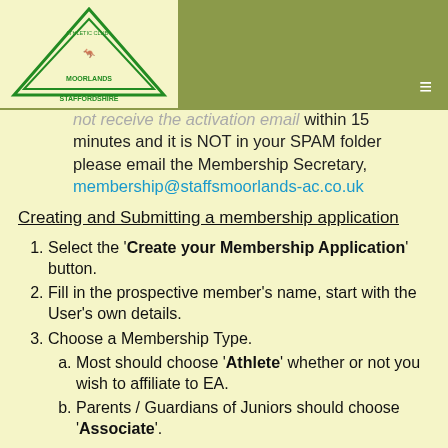Staffordshire Moorlands Athletic Club - navigation header with logo and hamburger menu
not receive the activation email within 15 minutes and it is NOT in your SPAM folder please email the Membership Secretary, membership@staffsmoorlands-ac.co.uk
Creating and Submitting a membership application
1. Select the 'Create your Membership Application' button.
2. Fill in the prospective member's name, start with the User's own details.
3. Choose a Membership Type.
a. Most should choose 'Athlete' whether or not you wish to affiliate to EA.
b. Parents / Guardians of Juniors should choose 'Associate'.